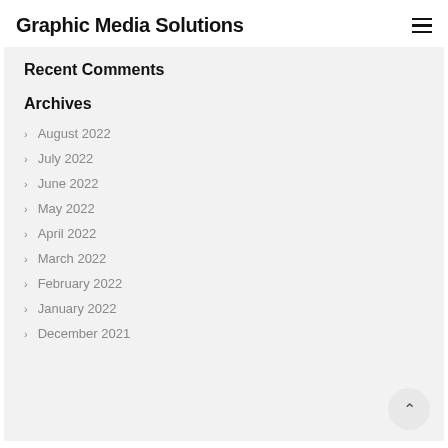Graphic Media Solutions
Recent Comments
Archives
August 2022
July 2022
June 2022
May 2022
April 2022
March 2022
February 2022
January 2022
December 2021